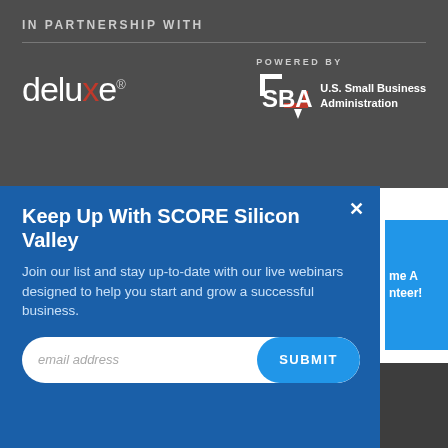IN PARTNERSHIP WITH
[Figure (logo): Deluxe logo in white with red X letter, and SBA U.S. Small Business Administration logo, with 'POWERED BY' label above SBA logo]
Keep Up With SCORE Silicon Valley
Join our list and stay up-to-date with our live webinars designed to help you start and grow a successful business.
email address   SUBMIT
me A nteer!
Thank you for visiting SCORE Silicon Valley
We value your feedback
C/O SAN JOSE CHAMBER OF COMMERCE